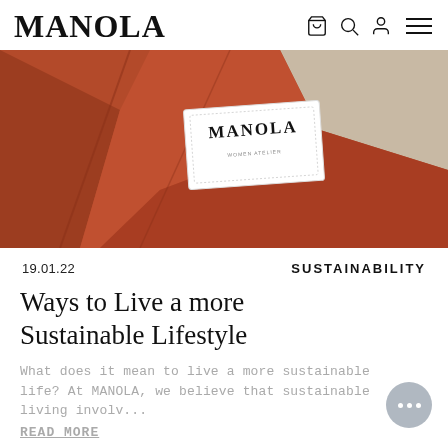MANOLA
[Figure (photo): Close-up of a rust/terracotta-colored fabric garment with a white MANOLA brand label sewn inside, laid on a beige background.]
19.01.22
SUSTAINABILITY
Ways to Live a more Sustainable Lifestyle
What does it mean to live a more sustainable life? At MANOLA, we believe that sustainable living involv...
READ MORE